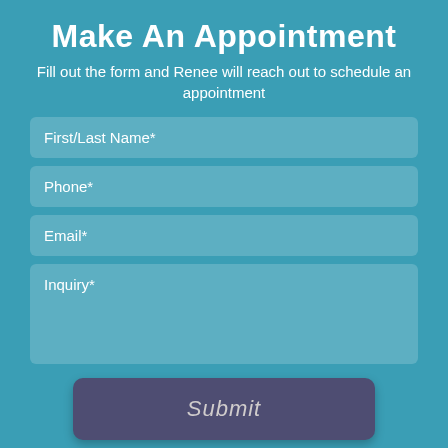Make An Appointment
Fill out the form and Renee will reach out to schedule an appointment
[Figure (other): Web form with fields for First/Last Name, Phone, Email, Inquiry, and a Submit button on a teal background]